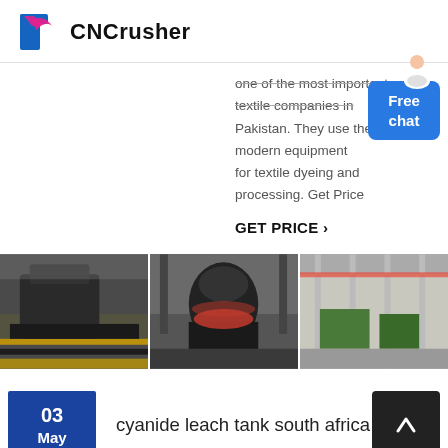CNCrusher
one of the most important textile companies in Pakistan. They use the most modern equipment for textile dyeing and processing. Get Price
GET PRICE >
[Figure (photo): Three industrial factory floor photos showing heavy machinery and manufacturing equipment]
03 May — cyanide leach tank south africa